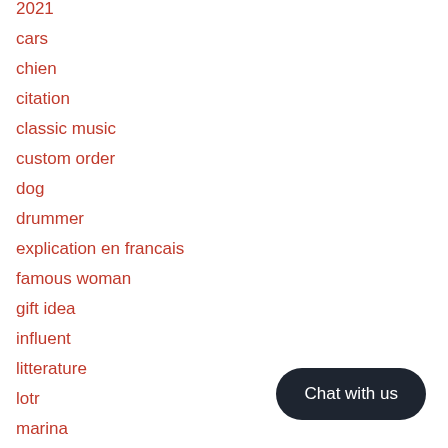2021
cars
chien
citation
classic music
custom order
dog
drummer
explication en francais
famous woman
gift idea
influent
litterature
lotr
marina
Chat with us